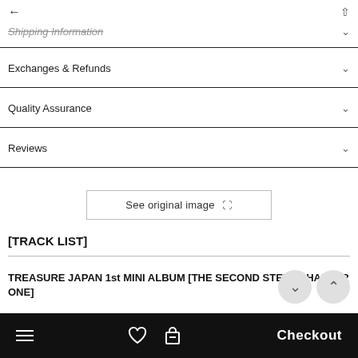Shipping Information
Exchanges & Refunds
Quality Assurance
Reviews
See original image
[TRACK LIST]
TREASURE JAPAN 1st MINI ALBUM [THE SECOND STEP : CHAPTER ONE]
1. JIKJIN
Checkout